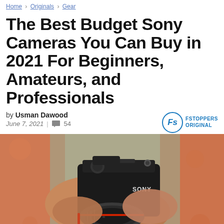Home > Originals > Gear
The Best Budget Sony Cameras You Can Buy in 2021 For Beginners, Amateurs, and Professionals
by Usman Dawood
June 7, 2021 | 54
[Figure (photo): A person's hands holding a Sony mirrorless camera with a large telephoto lens, viewed from above/behind, with blurred orange/red clothing in background]